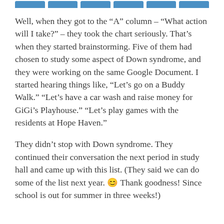[Figure (other): Row of six blue rounded tab/button shapes along the top of the page]
Well, when they got to the “A” column – “What action will I take?” – they took the chart seriously. That’s when they started brainstorming. Five of them had chosen to study some aspect of Down syndrome, and they were working on the same Google Document. I started hearing things like, “Let’s go on a Buddy Walk.” “Let’s have a car wash and raise money for GiGi’s Playhouse.” “Let’s play games with the residents at Hope Haven.”
They didn’t stop with Down syndrome. They continued their conversation the next period in study hall and came up with this list. (They said we can do some of the list next year. 😊 Thank goodness! Since school is out for summer in three weeks!)